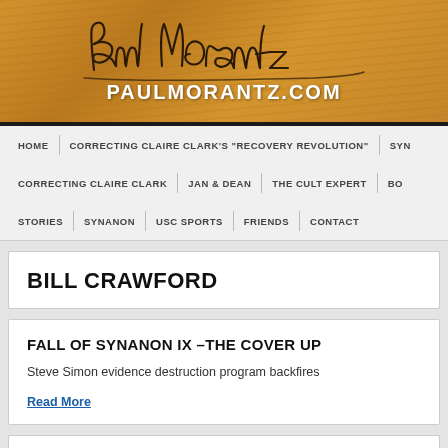[Figure (logo): Paul Morantz website header with wood-grain background, cursive signature 'Paul Morantz' and bold text PAULMORANTZ.COM]
HOME | CORRECTING CLAIRE CLARK'S "RECOVERY REVOLUTION" | SYN | CORRECTING CLAIRE CLARK | JAN & DEAN | THE CULT EXPERT | BO | STORIES | SYNANON | USC SPORTS | FRIENDS | CONTACT
BILL CRAWFORD
FALL OF SYNANON IX –THE COVER UP
Steve Simon evidence destruction program backfires
Read More
CHANGE PARTNERS AND DANCE
Dederich takes a stranger for a wife, so everyone must do the same. The medi